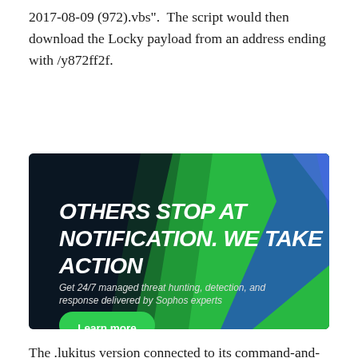2017-08-09 (972).vbs".  The script would then download the Locky payload from an address ending with /y872ff2f.
[Figure (illustration): Sophos advertisement banner with dark background and green/blue diagonal stripes. Bold white italic text reads 'OTHERS STOP AT NOTIFICATION. WE TAKE ACTION'. Smaller italic white text below reads 'Get 24/7 managed threat hunting, detection, and response delivered by Sophos experts'. Green pill-shaped button with white text 'Learn more'.]
The .lukitus version connected to its command-and-control server in the...